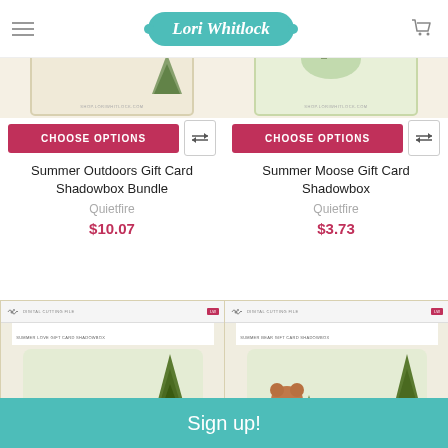Lori Whitlock
[Figure (photo): Summer Outdoors Gift Card Shadowbox Bundle product image - card with poinsettia decorations]
[Figure (photo): Summer Moose Gift Card Shadowbox product image - card with green decorations]
CHOOSE OPTIONS
CHOOSE OPTIONS
Summer Outdoors Gift Card Shadowbox Bundle
Quietfire
$10.07
Summer Moose Gift Card Shadowbox
Quietfire
$3.73
[Figure (photo): Summer Love Gift Card Shadowbox packaging with green shadowbox showing chair and trees]
[Figure (photo): Summer Bear Gift Card Shadowbox packaging with green shadowbox showing bear and trees]
Sign up!